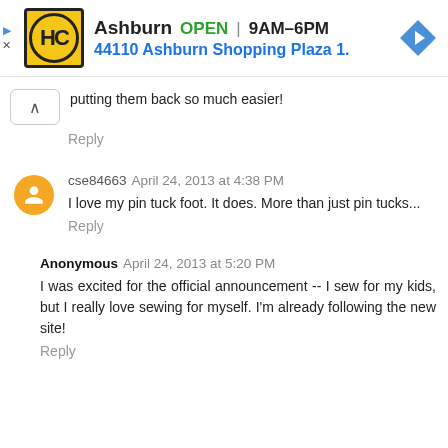[Figure (infographic): Advertisement banner for Haverty's (HC) furniture store in Ashburn. Shows logo (yellow circle with HC), store name, OPEN status, hours 9AM-6PM, address 44110 Ashburn Shopping Plaza 1., and a blue navigation arrow icon. Small play and X icons on the left.]
putting them back so much easier!
Reply
cse84663 April 24, 2013 at 4:38 PM
I love my pin tuck foot. It does. More than just pin tucks...
Reply
Anonymous April 24, 2013 at 5:20 PM
I was excited for the official announcement -- I sew for my kids, but I really love sewing for myself. I'm already following the new site!
Reply